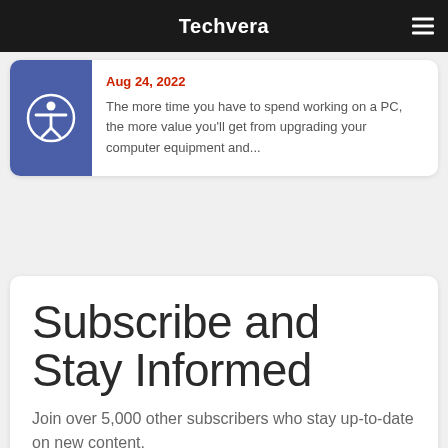Techvera
Aug 24, 2022
The more time you have to spend working on a PC, the more value you'll get from upgrading your computer equipment and...
Subscribe and Stay Informed
Join over 5,000 other subscribers who stay up-to-date on new content,